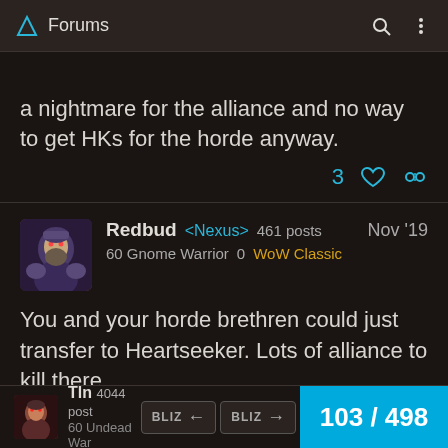Forums
a nightmare for the alliance and no way to get HKs for the horde anyway.
3 ♡ 🔗
Redbud <Nexus> 461 posts Nov '19 60 Gnome Warrior 0 WoW Classic
You and your horde brethren could just transfer to Heartseeker. Lots of alliance to kill there.
6 ♡ 🔗
Tln 4044 posts 60 Undead War... BLIZ ← BLIZ → 103 / 498